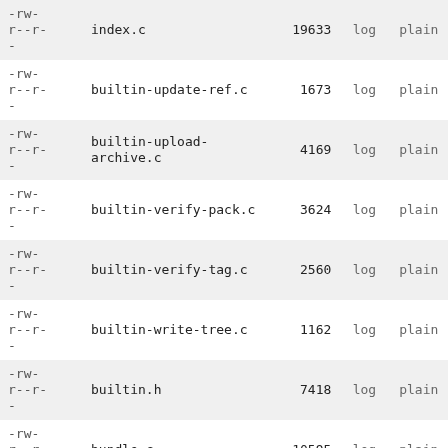| permissions | name | size | log | plain |
| --- | --- | --- | --- | --- |
| -rw-r--r-- | index.c | 19633 | log | plain |
| -rw-r--r-- | builtin-update-ref.c | 1673 | log | plain |
| -rw-r--r-- | builtin-upload-archive.c | 4169 | log | plain |
| -rw-r--r-- | builtin-verify-pack.c | 3624 | log | plain |
| -rw-r--r-- | builtin-verify-tag.c | 2560 | log | plain |
| -rw-r--r-- | builtin-write-tree.c | 1162 | log | plain |
| -rw-r--r-- | builtin.h | 7418 | log | plain |
| -rw-r--r-- | bundle.c | 10595 | log | plain |
| -rw-r--r-- | bundle.h | 627 | log | plain |
| -rw-r--r-- | cache-tree.c | 14728 | log | plain |